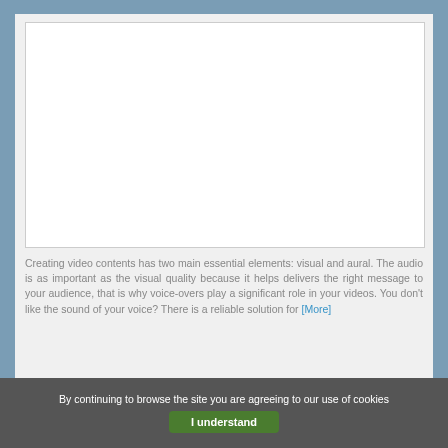[Figure (other): White blank video placeholder rectangle]
Creating video contents has two main essential elements: visual and aural. The audio is as important as the visual quality because it helps delivers the right message to your audience, that is why voice-overs play a significant role in your videos. You don't like the sound of your voice? There is a reliable solution for [More]
By continuing to browse the site you are agreeing to our use of cookies
I understand